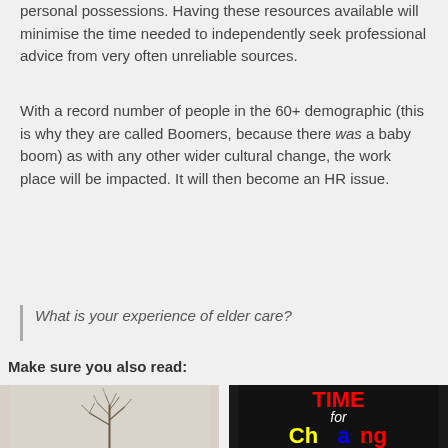personal possessions. Having these resources available will minimise the time needed to independently seek professional advice from very often unreliable sources.
With a record number of people in the 60+ demographic (this is why they are called Boomers, because there was a baby boom) as with any other wider cultural change, the work place will be impacted. It will then become an HR issue.
What is your experience of elder care?
Make sure you also read:
[Figure (photo): A bare leafless tree against a light grey background]
[Figure (photo): A colorful sign reading TIME for Change with red, white and multicolor lettering on a dark background]